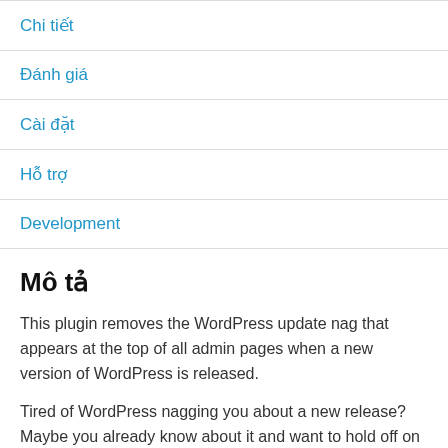Chi tiết
Đánh giá
Cài đặt
Hỗ trợ
Development
Mô tả
This plugin removes the WordPress update nag that appears at the top of all admin pages when a new version of WordPress is released.
Tired of WordPress nagging you about a new release? Maybe you already know about it and want to hold off on an update and would rather not see